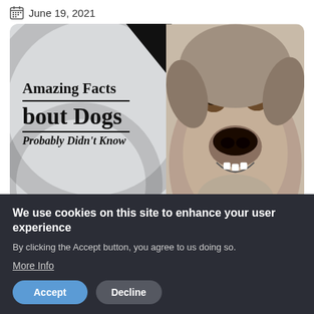June 19, 2021
[Figure (illustration): Article thumbnail image showing text 'Amazing Facts About Dogs You Probably Didn't Know' on the left with circular design elements and black corner accents, and a close-up photo of a smiling dog on the right]
We use cookies on this site to enhance your user experience
By clicking the Accept button, you agree to us doing so.
More Info